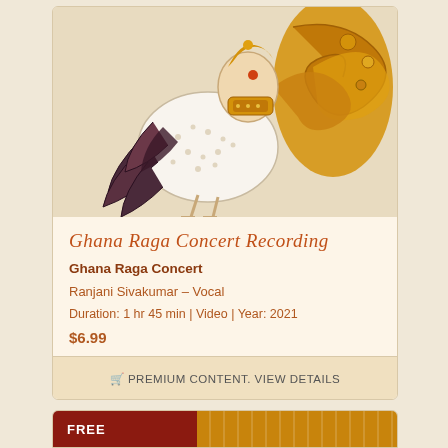[Figure (illustration): Traditional Indian painting of a peacock with decorative golden and floral elements, white spotted body with dark feathers and tail, shown in a classical art style.]
Ghana Raga Concert Recording
Ghana Raga Concert
Ranjani Sivakumar – Vocal
Duration: 1 hr 45 min | Video | Year: 2021
$6.99
🛒 PREMIUM CONTENT. VIEW DETAILS
FREE